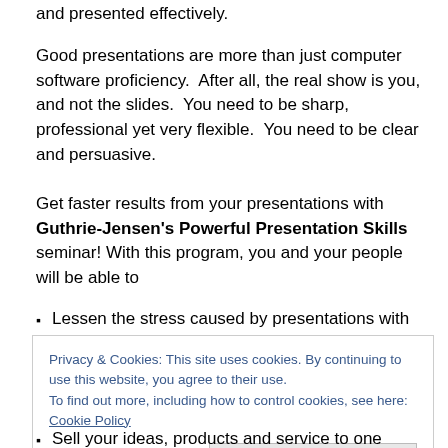and presented effectively.
Good presentations are more than just computer software proficiency. After all, the real show is you, and not the slides. You need to be sharp, professional yet very flexible. You need to be clear and persuasive.
Get faster results from your presentations with Guthrie-Jensen's Powerful Presentation Skills seminar! With this program, you and your people will be able to
Lessen the stress caused by presentations with stress
Privacy & Cookies: This site uses cookies. By continuing to use this website, you agree to their use.
To find out more, including how to control cookies, see here: Cookie Policy
Sell your ideas, products and service to one person or